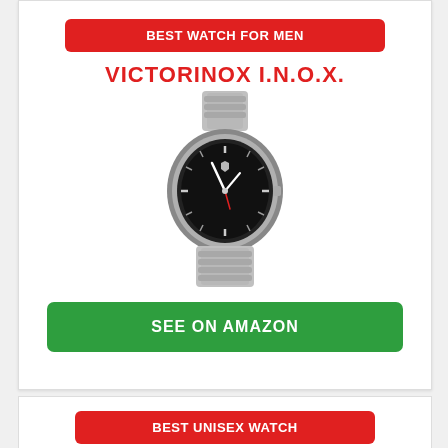BEST WATCH FOR MEN
VICTORINOX I.N.O.X.
[Figure (photo): Victorinox I.N.O.X. stainless steel watch with black dial and metal bracelet]
SEE ON AMAZON
BEST UNISEX WATCH